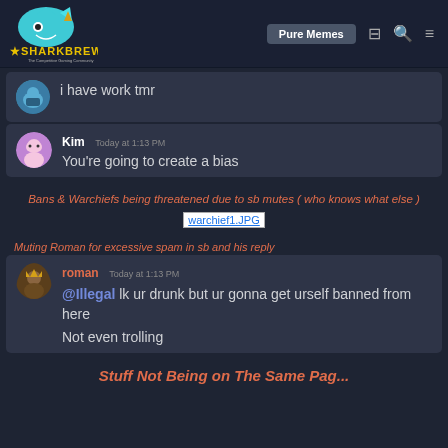SHARKBREW | Pure Memes
i have work tmr
Kim  Today at 1:13 PM
You're going to create a bias
Bans & Warchiefs being threatened due to sb mutes ( who knows what else )
[Figure (screenshot): Image placeholder showing warchief1.JPG]
Muting Roman for excessive spam in sb and his reply
roman
@Illegal lk ur drunk but ur gonna get urself banned from here
Not even trolling
Stuff Not Being on The Same Pag...